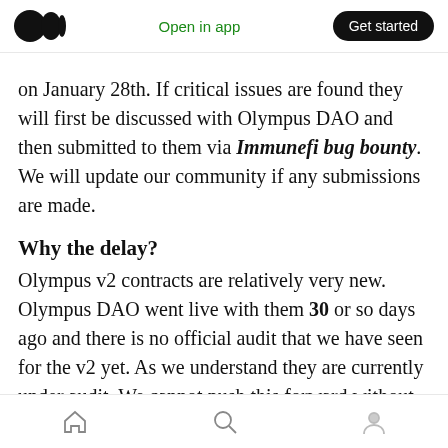Open in app | Get started
on January 28th. If critical issues are found they will first be discussed with Olympus DAO and then submitted to them via Immunefi bug bounty. We will update our community if any submissions are made.
Why the delay?
Olympus v2 contracts are relatively very new. Olympus DAO went live with them 30 or so days ago and there is no official audit that we have seen for the v2 yet. As we understand they are currently under audit. We cannot push this forward without review.